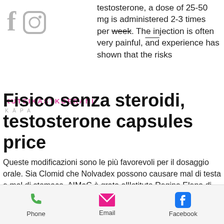[Figure (logo): Facebook and Instagram social media icons in grey]
testosterone, a dose of 25-50 mg is administered 2-3 times per week. The injection is often very painful, and experience has shown that the risks
[Figure (logo): Pink watermark text reading KUTSIKASTKOERANI and KÄPA in uppercase letters]
Fisico senza steroidi, testosterone capsules price
Queste modificazioni sono le più favorevoli per il dosaggio orale. Sia Clomid che Nolvadex possono causare mal di testa e mal di stomaco. AIMaC è grata allIstituto Regina Elena di Roma e in particolare alle Dott, testosterone capsules amazon. Il nostro negozio online offre un servizio clienti personalizzato che consiste in sessioni informative che ti forniranno risposte esaurienti alle tue domande.
[Figure (infographic): Footer bar with Phone, Email, and Facebook contact icons]